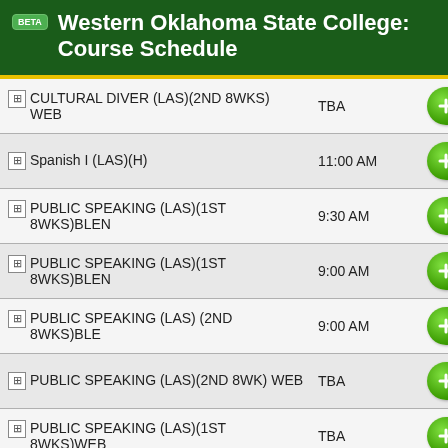BETA Western Oklahoma State College: Course Schedule
| Course | Time | Action |
| --- | --- | --- |
| CULTURAL DIVER (LAS)(2ND 8WKS) WEB | TBA | + |
| Spanish I (LAS)(H) | 11:00 AM | + |
| PUBLIC SPEAKING (LAS)(1ST 8WKS)BLEN | 9:30 AM | + |
| PUBLIC SPEAKING (LAS)(1ST 8WKS)BLEN | 9:00 AM | + |
| PUBLIC SPEAKING (LAS) (2ND 8WKS)BLE | 9:00 AM | + |
| PUBLIC SPEAKING (LAS)(2ND 8WK) WEB | TBA | + |
| PUBLIC SPEAKING (LAS)(1ST 8WKS)WEB | TBA | + |